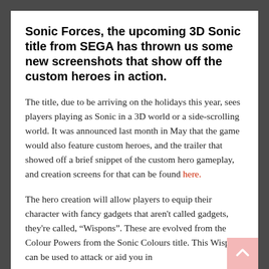Sonic Forces, the upcoming 3D Sonic title from SEGA has thrown us some new screenshots that show off the custom heroes in action.
The title, due to be arriving on the holidays this year, sees players playing as Sonic in a 3D world or a side-scrolling world. It was announced last month in May that the game would also feature custom heroes, and the trailer that showed off a brief snippet of the custom hero gameplay, and creation screens for that can be found here.
The hero creation will allow players to equip their character with fancy gadgets that aren't called gadgets, they're called, “Wispons”. These are evolved from the Colour Powers from the Sonic Colours title. This Wispons can be used to attack or aid you in